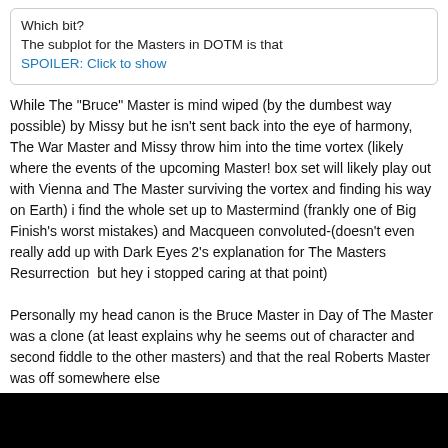Which bit?
The subplot for the Masters in DOTM is that
SPOILER: Click to show
While The "Bruce" Master is mind wiped (by the dumbest way possible) by Missy but he isn't sent back into the eye of harmony, The War Master and Missy throw him into the time vortex (likely where the events of the upcoming Master! box set will likely play out with Vienna and The Master surviving the vortex and finding his way on Earth) i find the whole set up to Mastermind (frankly one of Big Finish's worst mistakes) and Macqueen convoluted-(doesn't even really add up with Dark Eyes 2's explanation for The Masters Resurrection  but hey i stopped caring at that point)

Personally my head canon is the Bruce Master in Day of The Master was a clone (at least explains why he seems out of character and second fiddle to the other masters) and that the real Roberts Master was off somewhere else
sherlock
Cardinal
Oct 6, 2020 at 12:32pm
CookieMaster and xlozdob like this